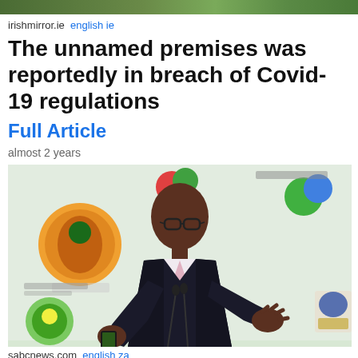[Figure (photo): Top banner photo — green foliage background, cropped top portion]
irishmirror.ie  english ie
The unnamed premises was reportedly in breach of Covid-19 regulations
Full Article
almost 2 years
[Figure (photo): A man in a dark suit wearing glasses stands at a podium with microphones, holding a phone. Behind him is a backdrop with colourful logos including GAUTENG branding.]
sabcnews.com  english za
M a k k e ...